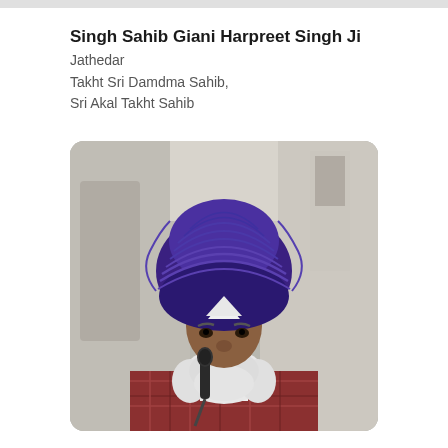Singh Sahib Giani Harpreet Singh Ji
Jathedar
Takht Sri Damdma Sahib,
Sri Akal Takht Sahib
[Figure (photo): Portrait photo of Singh Sahib Giani Harpreet Singh Ji, an elderly Sikh man wearing a purple turban and white beard, speaking into a microphone]